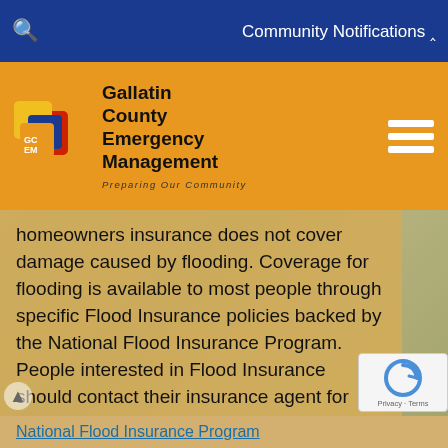Community Notifications
[Figure (logo): Gallatin County Emergency Management logo with GCEM initials in colorful interlocking squares]
Gallatin County Emergency Management — Preparing Our Community
homeowners insurance does not cover damage caused by flooding. Coverage for flooding is available to most people through specific Flood Insurance policies backed by the National Flood Insurance Program. People interested in Flood Insurance should contact their insurance agent for policy information. There is a 30 day waiting period for flood insurance policies to take effect, so don't waiting until flooding is imminent.
National Flood Insurance Program